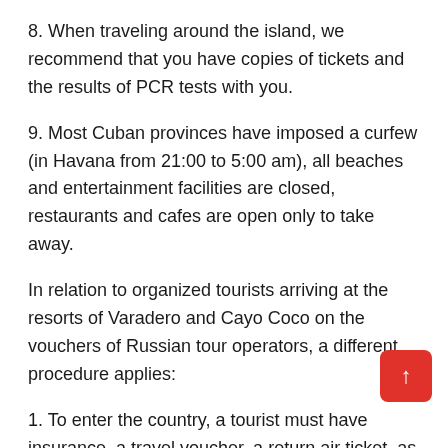8. When traveling around the island, we recommend that you have copies of tickets and the results of PCR tests with you.
9. Most Cuban provinces have imposed a curfew (in Havana from 21:00 to 5:00 am), all beaches and entertainment facilities are closed, restaurants and cafes are open only to take away.
In relation to organized tourists arriving at the resorts of Varadero and Cayo Coco on the vouchers of Russian tour operators, a different procedure applies:
1. To enter the country, a tourist must have insurance, a travel voucher, a return air ticket, as well as a certificate with a negative result of a PCR test for COVID-19, made no more than 72 hours before entering the country.
2. Foreign tourists, upon arrival in the country, take only one PCR test (at the airport), before receiving its results, they must